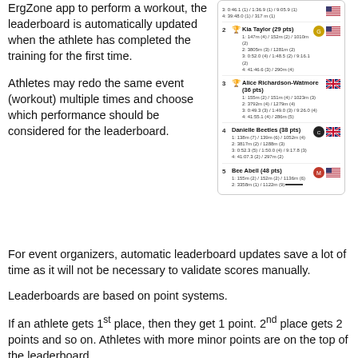ErgZone app to perform a workout, the leaderboard is automatically updated when the athlete has completed the training for the first time.
[Figure (screenshot): Leaderboard screenshot showing 5 athletes with their scores, ranks, performance data, avatars and flags]
Athletes may redo the same event (workout) multiple times and choose which performance should be considered for the leaderboard.
For event organizers, automatic leaderboard updates save a lot of time as it will not be necessary to validate scores manually.
Leaderboards are based on point systems.
If an athlete gets 1st place, then they get 1 point. 2nd place gets 2 points and so on. Athletes with more minor points are on the top of the leaderboard.